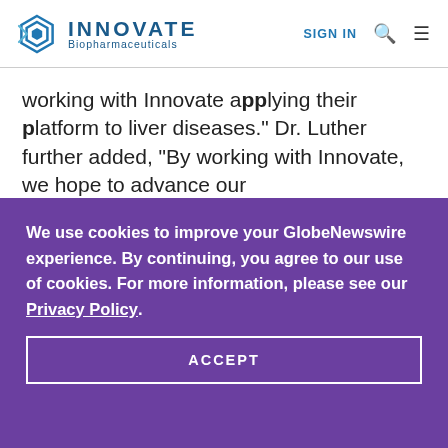INNOVATE Biopharmaceuticals | SIGN IN
working with Innovate applying their platform to liver diseases." Dr. Luther further added, "By working with Innovate, we hope to advance our
We use cookies to improve your GlobeNewswire experience. By continuing, you agree to our use of cookies. For more information, please see our Privacy Policy.
ACCEPT